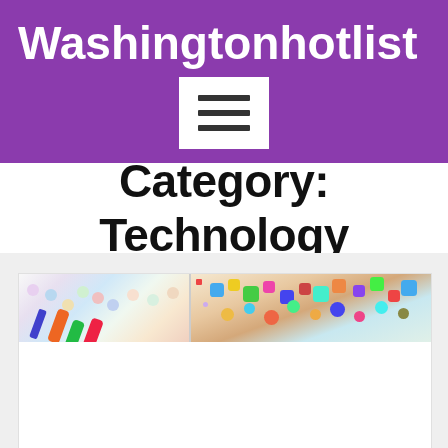Washingtonhotlist
Category: Technology
[Figure (photo): Website category page for Washingtonhotlist showing a Technology category header with a card featuring two photos: craft supplies with colorful markers and paint on the left, and confetti scattered on a wooden surface on the right.]